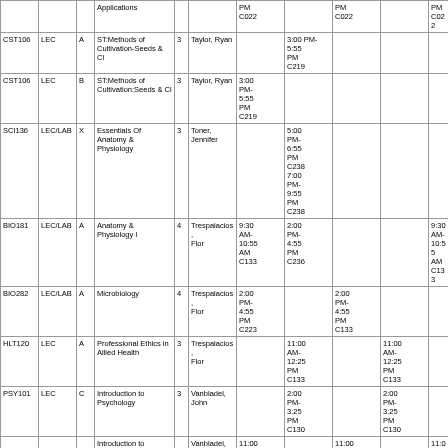| Course | Type | Sec | Title | Cr | Instructor | Mon | Tue | Wed | Thu | Fri | Sat |
| --- | --- | --- | --- | --- | --- | --- | --- | --- | --- | --- | --- |
|  |  |  | Applications |  |  | PM C022 |  | PM C022 |  | PM C022 |  |
| CST106 | LEC | A | ST:Methods of Cultivation-Seeds & Cl | 3 | Taylor, Ryan |  | 3:00 PM- 5:55 PM C219 |  |  |  |  |
| CST106 | LEC | B | ST:Methods of Cultivation:Seeds & Cl | 3 | Taylor, Ryan | 3:00 PM- 5:55 PM C219 |  |  |  |  |  |
| SCI136 | LEC/LAB | X | Essentials Of Anatomy & Physiology | 3 | Toner, Jennifer |  | 5:00 PM- 6:55 PM C238 7:00 PM- 9:55 PM C238 |  |  |  |  |
| BIO181 | LEC/LAB | A | Anatomy & Physiology I | 4 | Trespalacios, Flor | 9:30 AM- 10:55 AM C133 | 2:00 PM- 4:55 PM C236 |  |  | 9:30 AM- 10:55 AM C133 |  |
| BIO282 | LEC/LAB | A | Microbiology | 4 | Trespalacios, Flor | 2:00 PM- 4:55 PM C223 |  | 2:00 PM- 4:55 PM C133 |  |  |  |
| HLT120 | LEC | A | Professional Ethics in Allied Health | 3 | Trespalacios, Flor |  | 11:00 AM- 12:25 PM C133 |  | 11:00 AM- 12:25 PM C133 |  |  |
| PSY101 | LEC | C | Introduction to Psychology | 3 | Vanbladel, John |  | 2:00 PM- 3:25 PM C130 |  | 2:00 PM- 3:25 PM C130 |  |  |
|  |  |  | Introduction to |  | Vanbladel, | 11:00 AM- |  | 11:00 AM- |  | 11:00 AM- |  |